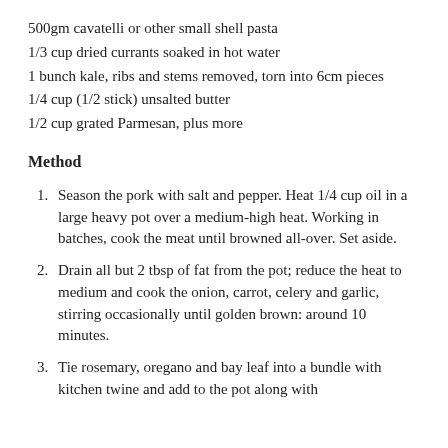500gm cavatelli or other small shell pasta
1/3 cup dried currants soaked in hot water
1 bunch kale, ribs and stems removed, torn into 6cm pieces
1/4 cup (1/2 stick) unsalted butter
1/2 cup grated Parmesan, plus more
Method
Season the pork with salt and pepper. Heat 1/4 cup oil in a large heavy pot over a medium-high heat. Working in batches, cook the meat until browned all-over. Set aside.
Drain all but 2 tbsp of fat from the pot; reduce the heat to medium and cook the onion, carrot, celery and garlic, stirring occasionally until golden brown: around 10 minutes.
Tie rosemary, oregano and bay leaf into a bundle with kitchen twine and add to the pot along with